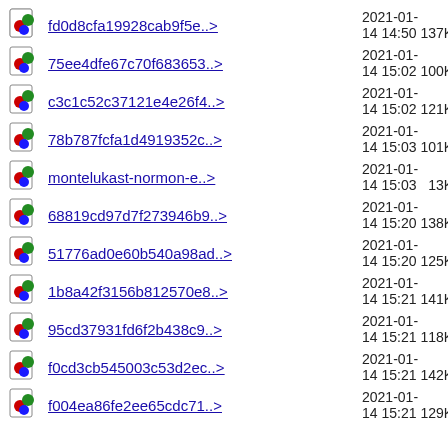fd0d8cfa19928cab9f5e..> 2021-01-14 14:50 137K
75ee4dfe67c70f683653..> 2021-01-14 15:02 100K
c3c1c52c37121e4e26f4..> 2021-01-14 15:02 121K
78b787fcfa1d4919352c..> 2021-01-14 15:03 101K
montelukast-normon-e..> 2021-01-14 15:03  13K
68819cd97d7f273946b9..> 2021-01-14 15:20 138K
51776ad0e60b540a98ad..> 2021-01-14 15:20 125K
1b8a42f3156b812570e8..> 2021-01-14 15:21 141K
95cd37931fd6f2b438c9..> 2021-01-14 15:21 118K
f0cd3cb545003c53d2ec..> 2021-01-14 15:21 142K
f004ea86fe2ee65cdc71..> 2021-01-14 15:21 129K